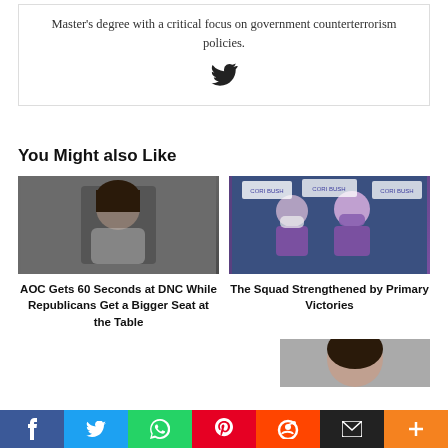Master's degree with a critical focus on government counterterrorism policies.
[Figure (illustration): Twitter bird icon]
You Might also Like
[Figure (photo): Photo of AOC looking to the side]
AOC Gets 60 Seconds at DNC While Republicans Get a Bigger Seat at the Table
[Figure (photo): Photo of The Squad at a press conference with purple masks and CORI BUSH signs]
The Squad Strengthened by Primary Victories
[Figure (photo): Partial photo of a woman at the bottom of the page]